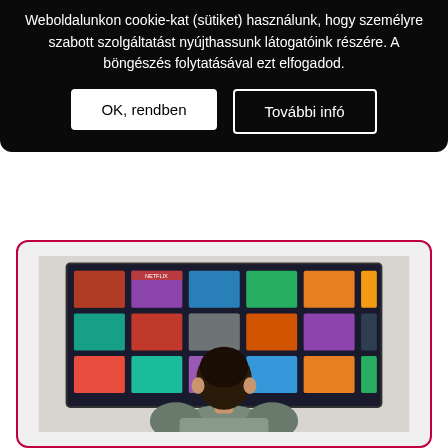Weboldalunkon cookie-kat (sütiket) használunk, hogy személyre szabott szolgáltatást nyújthassunk látogatóink részére. A böngészés folytatásával ezt elfogadod.
OK, rendben
További infó
[Figure (photo): Person seen from behind sitting in front of a large screen displaying a streaming service with movie/show thumbnails arranged in a grid]